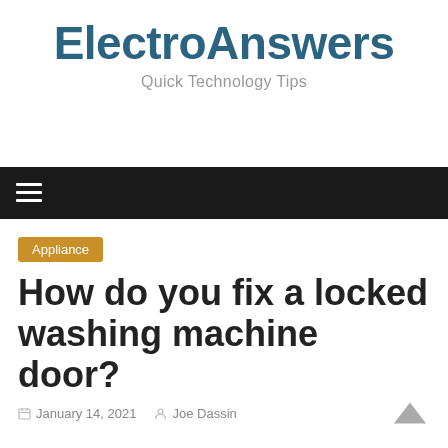ElectroAnswers
Quick Technology Tips
Appliance
How do you fix a locked washing machine door?
January 14, 2021   Joe Dassin